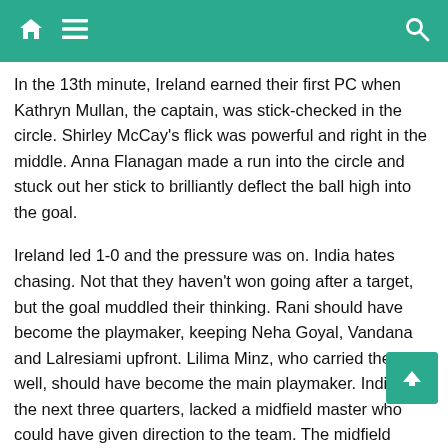Navigation bar with home, menu, and search icons
In the 13th minute, Ireland earned their first PC when Kathryn Mullan, the captain, was stick-checked in the circle. Shirley McCay's flick was powerful and right in the middle. Anna Flanagan made a run into the circle and stuck out her stick to brilliantly deflect the ball high into the goal.
Ireland led 1-0 and the pressure was on. India hates chasing. Not that they haven't won going after a target, but the goal muddled their thinking. Rani should have become the playmaker, keeping Neha Goyal, Vandana and Lalresiami upfront. Lilima Minz, who carried the ball well, should have become the main playmaker. India, in the next three quarters, lacked a midfield master who could have given direction to the team. The midfield either lost the ball on the edge of the Irish striking circle or the pass was too soft.
In the second quarter, India had six shots on goal to Ireland's two.